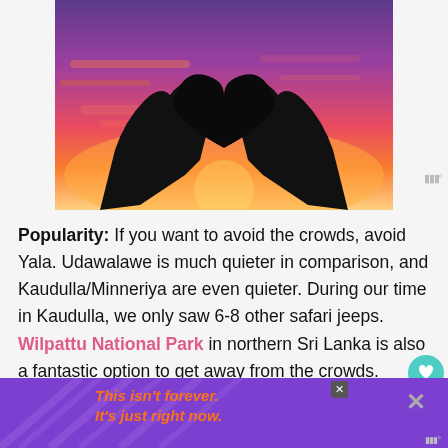[Figure (photo): Silhouette of two hands forming a heart shape against a vibrant pink, orange, and purple sunset sky]
Popularity: If you want to avoid the crowds, avoid Yala. Udawalawe is much quieter in comparison, and Kaudulla/Minneriya are even quieter. During our time in Kaudulla, we only saw 6-8 other safari jeeps. Wilpattu National Park in northern Sri Lanka is also a fantastic option to get away from the crowds.
[Figure (screenshot): Advertisement banner with purple background, diagonal ray lines, and orange italic text reading: This isn't forever. It's just right now.]